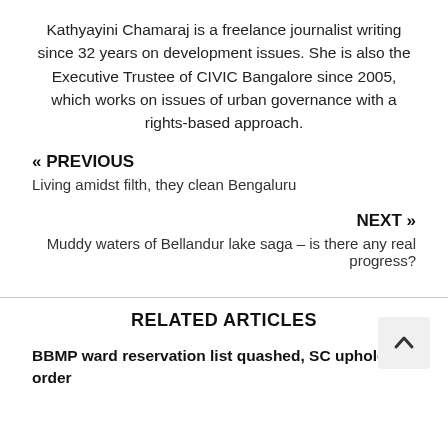Kathyayini Chamaraj is a freelance journalist writing since 32 years on development issues. She is also the Executive Trustee of CIVIC Bangalore since 2005, which works on issues of urban governance with a rights-based approach.
« PREVIOUS
Living amidst filth, they clean Bengaluru
NEXT »
Muddy waters of Bellandur lake saga – is there any real progress?
RELATED ARTICLES
BBMP ward reservation list quashed, SC upholds HC order